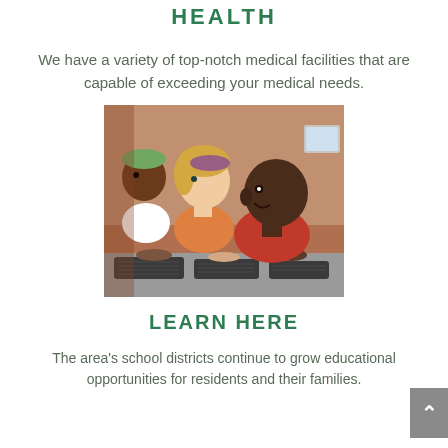HEALTH
We have a variety of top-notch medical facilities that are capable of exceeding your medical needs.
[Figure (photo): Three children sitting at computers in a classroom, smiling and working, seen from a side/front angle.]
LEARN HERE
The area's school districts continue to grow educational opportunities for residents and their families.